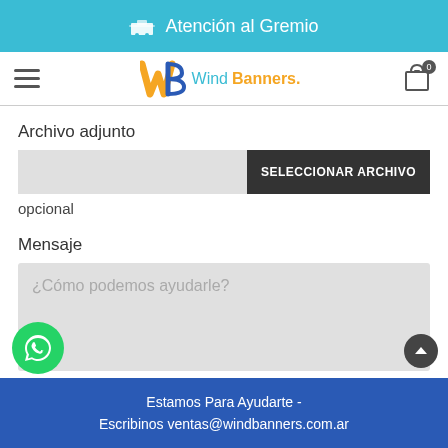Atención al Gremio
[Figure (logo): Wind Banners logo with hamburger menu and cart icon]
Archivo adjunto
SELECCIONAR ARCHIVO
opcional
Mensaje
¿Cómo podemos ayudarle?
Estamos Para Ayudarte - Escribinos ventas@windbanners.com.ar